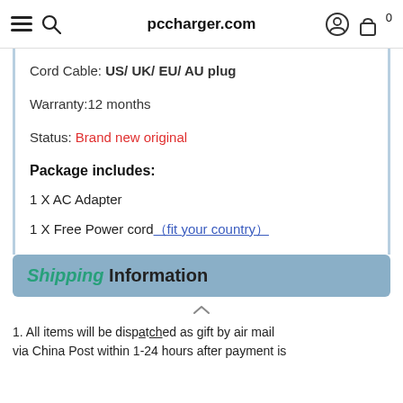pccharger.com
Cord Cable: US/ UK/ EU/ AU plug
Warranty:12 months
Status: Brand new original
Package includes:
1 X AC Adapter
1 X Free Power cord（fit your country）
Shipping Information
1. All items will be dispatched as gift by air mail via China Post within 1-24 hours after payment is